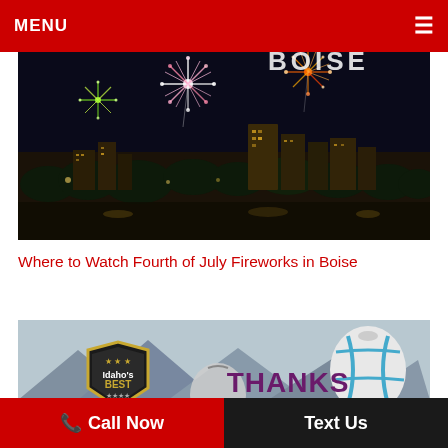MENU ≡
[Figure (photo): Aerial night photo of Boise city skyline with colorful fireworks exploding overhead. The word BOISE is visible in the top right corner. City buildings are lit up below the fireworks display.]
Where to Watch Fourth of July Fireworks in Boise
[Figure (photo): Photo showing hot air balloons in the sky over mountains, with text reading THANKS TO YOU overlaid. An Idaho's Best badge/shield is visible in the lower left.]
📞 Call Now   Text Us